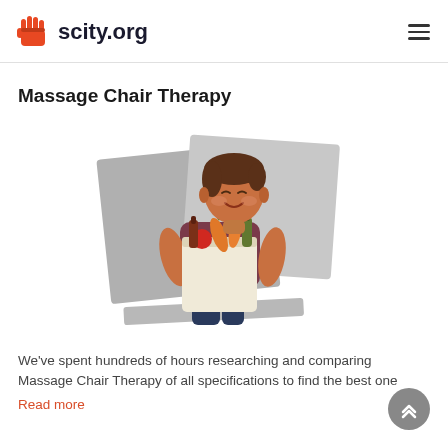scity.org
Massage Chair Therapy
[Figure (illustration): Illustration of a smiling young man with brown hair holding a large grocery bag filled with vegetables and bottles, set against overlapping gray rectangular background shapes.]
We've spent hundreds of hours researching and comparing Massage Chair Therapy of all specifications to find the best one
Read more